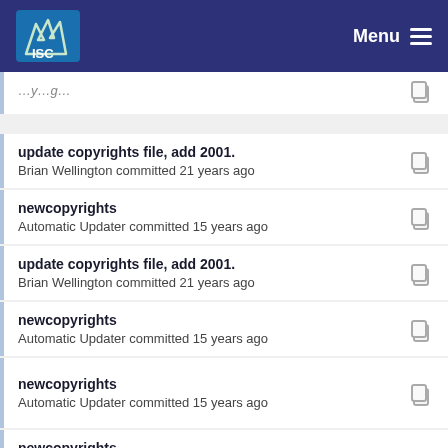ISC Menu
update copyrights file, add 2001. — Brian Wellington committed 21 years ago
newcopyrights — Automatic Updater committed 15 years ago
update copyrights file, add 2001. — Brian Wellington committed 21 years ago
newcopyrights — Automatic Updater committed 15 years ago
newcopyrights — Automatic Updater committed 15 years ago
newcopyrights — Mark Andrews committed 18 years ago
newcopyrights (partial)